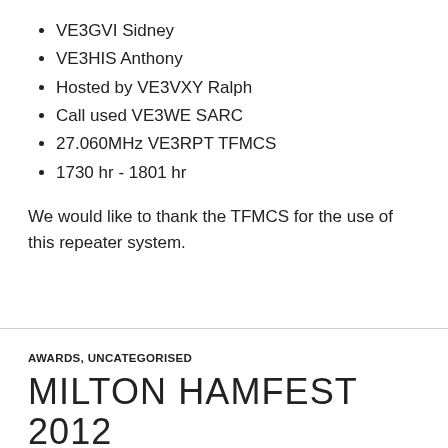VE3GVI Sidney
VE3HIS Anthony
Hosted by VE3VXY Ralph
Call used VE3WE SARC
27.060MHz VE3RPT TFMCS
1730 hr - 1801 hr
We would like to thank the TFMCS for the use of this repeater system.
AWARDS, UNCATEGORISED
MILTON HAMFEST 2012